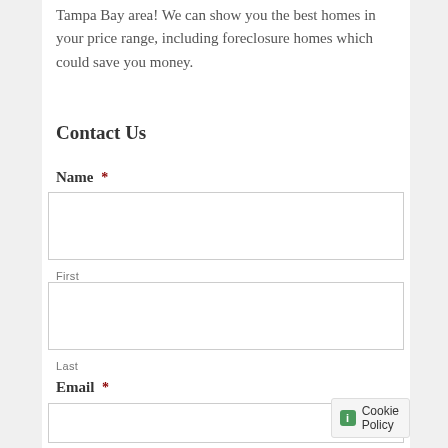Tampa Bay area! We can show you the best homes in your price range, including foreclosure homes which could save you money.
Contact Us
Name *
First
Last
Email *